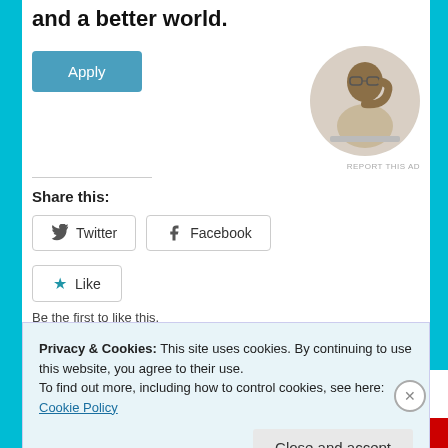and a better world.
[Figure (photo): A man sitting at a desk, looking up thoughtfully, wearing a beige shirt, shown in a circular crop.]
REPORT THIS AD
Share this:
Twitter
Facebook
Like
Be the first to like this.
Privacy & Cookies: This site uses cookies. By continuing to use this website, you agree to their use.
To find out more, including how to control cookies, see here: Cookie Policy
Close and accept